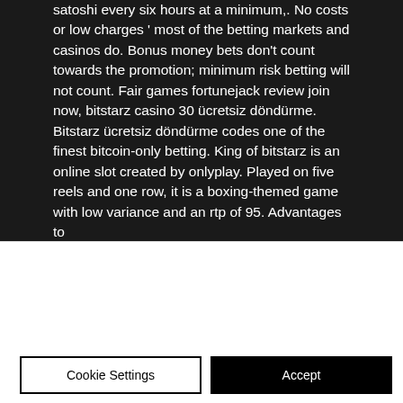satoshi every six hours at a minimum,. No costs or low charges ' most of the betting markets and casinos do. Bonus money bets don't count towards the promotion; minimum risk betting will not count. Fair games fortunejack review join now, bitstarz casino 30 ücretsiz döndürme. Bitstarz ücretsiz döndürme codes one of the finest bitcoin-only betting. King of bitstarz is an online slot created by onlyplay. Played on five reels and one row, it is a boxing-themed game with low variance and an rtp of 95. Advantages to
We use cookies and similar technologies to enable services and functionality on our site and to understand your interaction with our service. By clicking on accept, you agree to our use of such technologies for marketing and analytics. See Privacy Policy